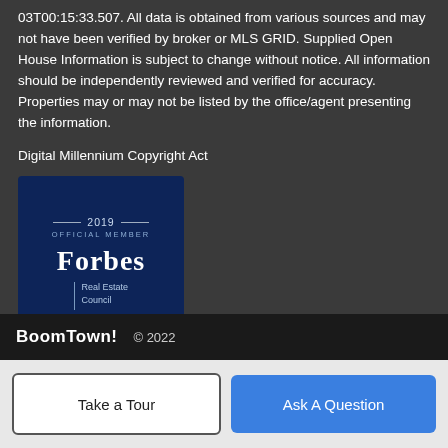03T00:15:33.507. All data is obtained from various sources and may not have been verified by broker or MLS GRID. Supplied Open House Information is subject to change without notice. All information should be independently reviewed and verified for accuracy. Properties may or may not be listed by the office/agent presenting the information.
Digital Millennium Copyright Act
[Figure (logo): Forbes Real Estate Council 2019 Official Member badge on dark blue background]
BoomTown! © 2022
Take a Tour
Ask A Question